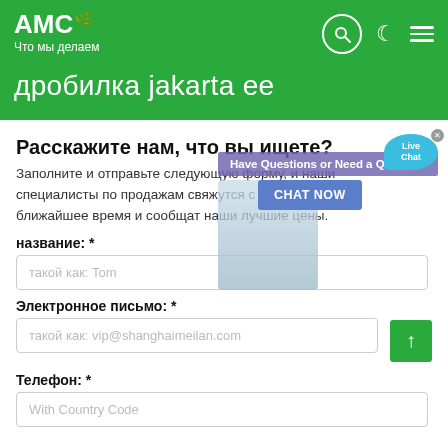АМС — Что мы делаем
дробилка jakarta ee
Расскажите нам, что вы ищете?
Заполните и отправьте следующую форму, и наши специалисты по продажам свяжутся с вами в ближайшее время и сообщат наши лучшие цены.
[Figure (screenshot): Live chat popup overlay with customer service representative image, banner reading 'Have Questions or Need a Quote?' and 'CHAT NOW' button, with a Live Chat speech bubble in top right]
название: *
такой как: Tom
Электронное письмо: *
такой как: vip@shanghaimeilan.com
Телефон: *
With Country Code